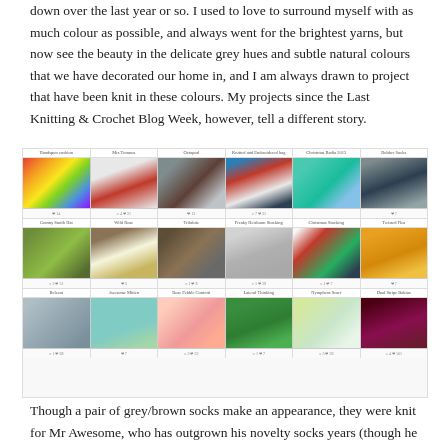down over the last year or so. I used to love to surround myself with as much colour as possible, and always went for the brightest yarns, but now see the beauty in the delicate grey hues and subtle natural colours that we have decorated our home in, and I am always drawn to project that have been knit in these colours. My projects since the Last Knitting & Crochet Blog Week, however, tell a different story.
[Figure (screenshot): A screenshot of a knitting/crafting project gallery showing 18 projects arranged in 3 rows of 6. Row 1: Handspun cushion, Mrs Tumnus, Octopod, Knitted and Embroidered bag, Christmas Radio 2012, Rubber Socks. Row 2: Granny Smith Hat, Wild Rose, Trilobite, Freaky Heirloom Stocking, Christmas Stocking, Twisted Flea. Row 3: Belecat, Awesome Mitten, Rose Pebble Confetti, Lateral Thinking, Nympheas Scarf, Dual Stripe Baktus.]
Though a pair of grey/brown socks make an appearance, they were knit for Mr Awesome, who has outgrown his novelty socks years (though he